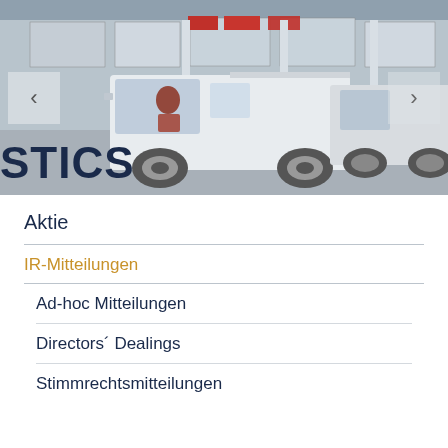[Figure (photo): Photo of white delivery vans (logistics vehicles) parked at or near a dealership/distribution center. Left and right navigation arrows visible. Partial text 'STICS' visible at lower left (part of 'LOGISTICS').]
Aktie
IR-Mitteilungen
Ad-hoc Mitteilungen
Directors´ Dealings
Stimmrechtsmitteilungen